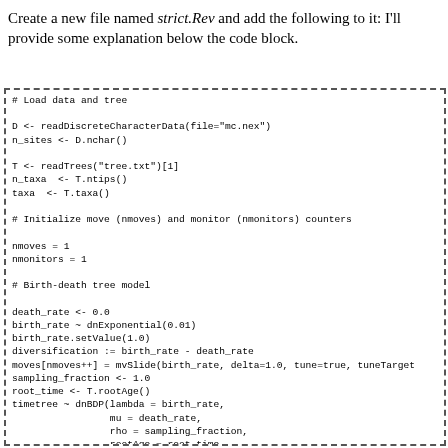Create a new file named strict.Rev and add the following to it: I'll provide some explanation below the code block.
[Figure (other): Code block with dashed border containing RevBayes script for loading data, tree, initializing counters, and Birth-death tree model]